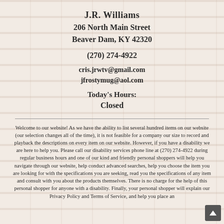J.R. Williams
206 North Main Street
Beaver Dam, KY 42320
(270) 274-4922
cris.jrwtv@gmail.com
jfrostymug@aol.com
Today's Hours:
Closed
Welcome to our website! As we have the ability to list several hundred items on our website (our selection changes all of the time), it is not feasible for a company our size to record and playback the descriptions on every item on our website. However, if you have a disability we are here to help you. Please call our disability services phone line at (270) 274-4922 during regular business hours and one of our kind and friendly personal shoppers will help you navigate through our website, help conduct advanced searches, help you choose the item you are looking for with the specifications you are seeking, read you the specifications of any item and consult with you about the products themselves. There is no charge for the help of this personal shopper for anyone with a disability. Finally, your personal shopper will explain our Privacy Policy and Terms of Service, and help you place an